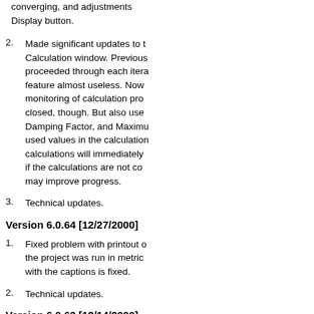converging, and adjustments Display button.
2. Made significant updates to the Calculation window. Previously proceeded through each iteration feature almost useless. Now monitoring of calculation progress closed, though. But also uses Damping Factor, and Maximum used values in the calculation calculations will immediately if the calculations are not converging may improve progress.
3. Technical updates.
Version 6.0.64 [12/27/2000]
1. Fixed problem with printout of the project was run in metric with the captions is fixed.
2. Technical updates.
Version 6.0.63 [12/14/2000]
1. Fixed other problems which occur pipes. This follows up on updates
2. Technical updates.